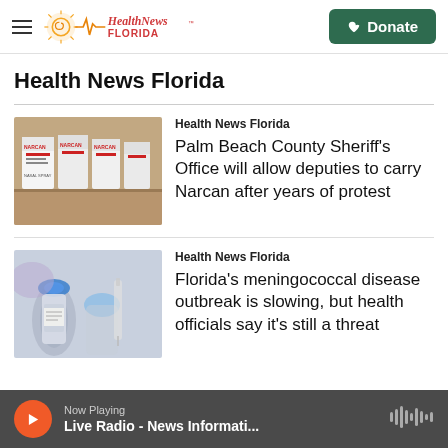Health News Florida — Navigation bar with logo and Donate button
Health News Florida
[Figure (photo): Boxes of Narcan nasal spray stacked on a shelf]
Health News Florida
Palm Beach County Sheriff's Office will allow deputies to carry Narcan after years of protest
[Figure (photo): Vaccine vials and syringes close-up]
Health News Florida
Florida's meningococcal disease outbreak is slowing, but health officials say it's still a threat
Now Playing — Live Radio - News Informati...